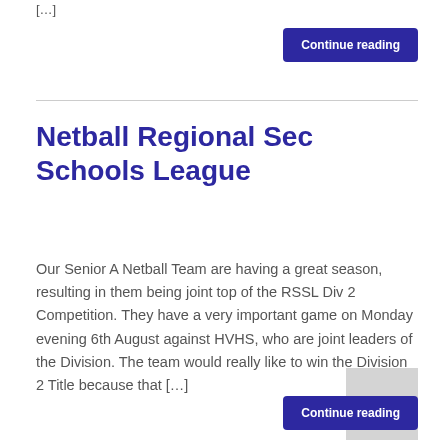[…]
Continue reading
Netball Regional Sec Schools League
Our Senior A Netball Team are having a great season, resulting in them being joint top of the RSSL Div 2 Competition. They have a very important game on Monday evening 6th August against HVHS, who are joint leaders of the Division. The team would really like to win the Division 2 Title because that […]
Continue reading